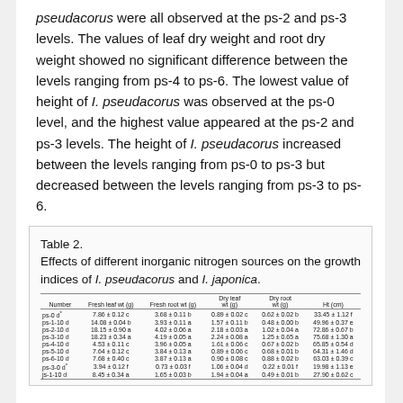pseudacorus were all observed at the ps-2 and ps-3 levels. The values of leaf dry weight and root dry weight showed no significant difference between the levels ranging from ps-4 to ps-6. The lowest value of height of I. pseudacorus was observed at the ps-0 level, and the highest value appeared at the ps-2 and ps-3 levels. The height of I. pseudacorus increased between the levels ranging from ps-0 to ps-3 but decreased between the levels ranging from ps-3 to ps-6.
| Number | Fresh leaf wt (g) | Fresh root wt (g) | Dry leaf wt (g) | Dry root wt (g) | Ht (cm) |
| --- | --- | --- | --- | --- | --- |
| ps-0 d* | 7.86 ± 0.12 c | 3.68 ± 0.11 b | 0.89 ± 0.02 c | 0.62 ± 0.02 b | 33.45 ± 1.12 f |
| ps-1-10 d | 14.08 ± 0.04 b | 3.93 ± 0.11 a | 1.57 ± 0.11 b | 0.48 ± 0.00 b | 49.96 ± 0.37 e |
| ps-2-10 d | 18.15 ± 0.90 a | 4.02 ± 0.06 a | 2.18 ± 0.03 a | 1.02 ± 0.04 a | 72.86 ± 0.67 b |
| ps-3-10 d | 18.23 ± 0.34 a | 4.19 ± 0.05 a | 2.24 ± 0.08 a | 1.25 ± 0.65 a | 75.68 ± 1.30 a |
| ps-4-10 d | 4.53 ± 0.11 c | 3.96 ± 0.05 a | 1.61 ± 0.06 c | 0.67 ± 0.02 b | 65.85 ± 0.54 d |
| ps-5-10 d | 7.64 ± 0.12 c | 3.84 ± 0.13 a | 0.89 ± 0.06 c | 0.68 ± 0.01 b | 64.31 ± 1.46 d |
| ps-6-10 d | 7.68 ± 0.40 c | 3.87 ± 0.13 a | 0.90 ± 0.08 c | 0.88 ± 0.02 b | 63.03 ± 0.39 c |
| ps-3-0 d* | 3.94 ± 0.12 f | 0.73 ± 0.03 f | 1.06 ± 0.04 d | 0.22 ± 0.01 f | 19.98 ± 1.13 e |
| js-1-10 d | 8.45 ± 0.34 a | 1.65 ± 0.03 b | 1.94 ± 0.04 a | 0.49 ± 0.01 b | 27.90 ± 0.62 c |